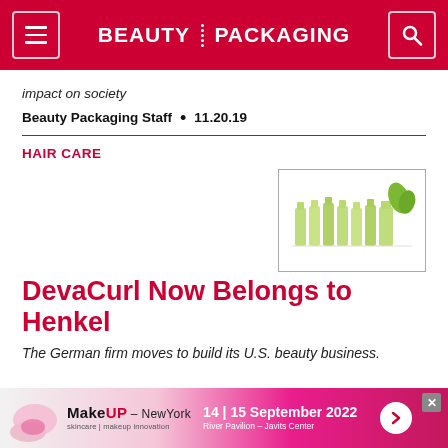BEAUTY PACKAGING
impact on society
Beauty Packaging Staff  •  11.20.19
HAIR CARE
[Figure (photo): DevaCurl hair care product bottles arranged in a row with a leaf decoration]
DevaCurl Now Belongs to Henkel
The German firm moves to build its U.S. beauty business.
[Figure (other): MakeUp-NewYork advertisement banner: 14|15 September 2022, River Pavilion – Javits Center]